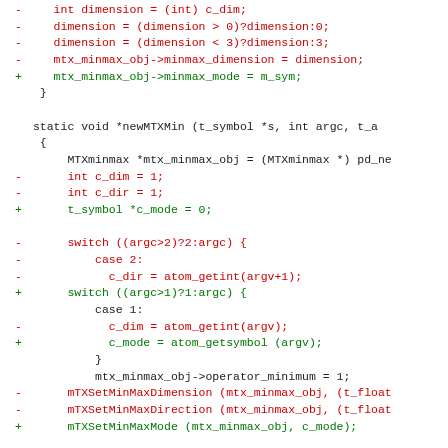[Figure (screenshot): Source code diff showing changes to MTXmin/MTXMax functions in C, with red lines indicating removed code and green lines indicating added code. The diff replaces dimension/direction parameters with a mode symbol parameter.]